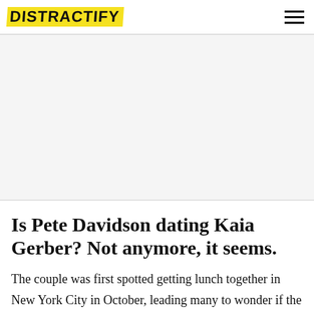DISTRACTIFY
[Figure (other): Advertisement placeholder area, blank light gray rectangle]
Is Pete Davidson dating Kaia Gerber? Not anymore, it seems.
The couple was first spotted getting lunch together in New York City in October, leading many to wonder if the